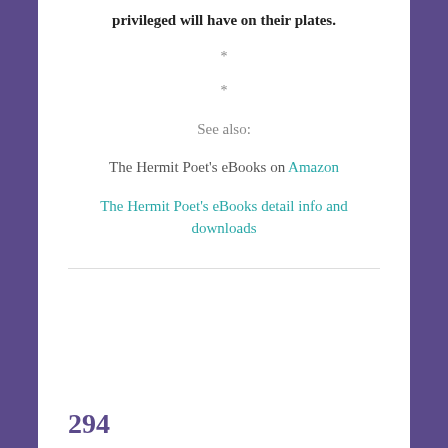privileged will have on their plates.
*
*
See also:
The Hermit Poet's eBooks on Amazon
The Hermit Poet's eBooks detail info and downloads
294